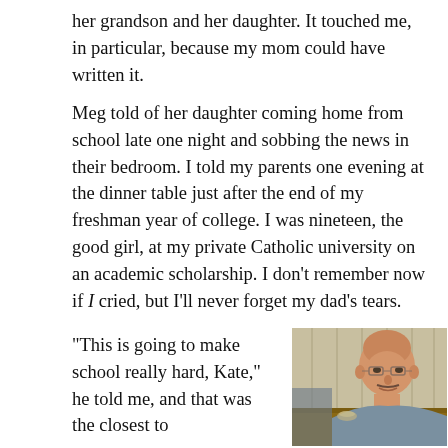her grandson and her daughter. It touched me, in particular, because my mom could have written it.
Meg told of her daughter coming home from school late one night and sobbing the news in their bedroom. I told my parents one evening at the dinner table just after the end of my freshman year of college. I was nineteen, the good girl, at my private Catholic university on an academic scholarship. I don't remember now if I cried, but I'll never forget my dad's tears.
"This is going to make school really hard, Kate," he told me, and that was the closest to
[Figure (photo): An older balding man with glasses sitting at a table, photographed in a room with wood-paneled walls. He appears to be in a relaxed setting.]